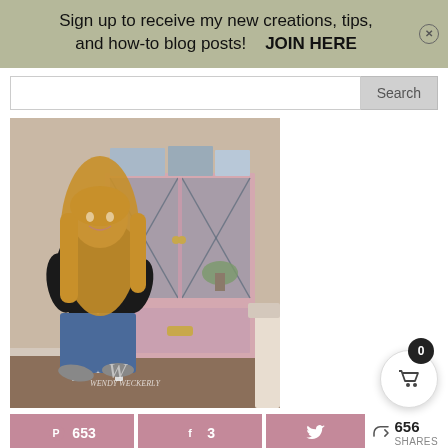Sign up to receive my new creations, tips, and how-to blog posts!    JOIN HERE
[Figure (screenshot): Search bar input field with Search button]
[Figure (photo): Woman with long blonde hair wearing black top and jeans sitting on white stool in front of pink painted china cabinet with glass doors. Wendy Weckerly watermark visible.]
653  3  656 SHARES